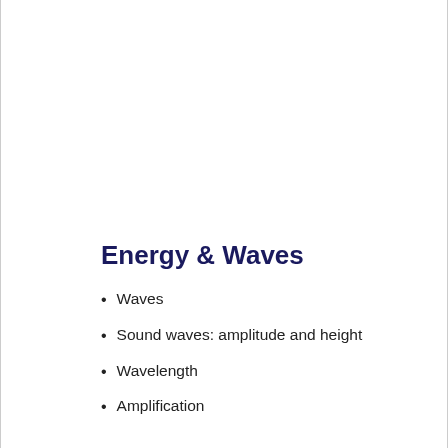Energy & Waves
Waves
Sound waves: amplitude and height
Wavelength
Amplification